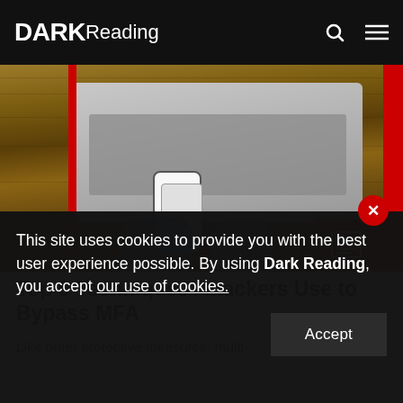DARK Reading
[Figure (photo): Overhead view of a person in a blue shirt using a smartphone while sitting in front of a laptop on a wooden desk. The image has a red border accent on the right side and a red badge with a newspaper icon in the bottom right corner.]
Top 5 Techniques Attackers Use to Bypass MFA
Like other protective measures, multi-
This site uses cookies to provide you with the best user experience possible. By using Dark Reading, you accept our use of cookies.